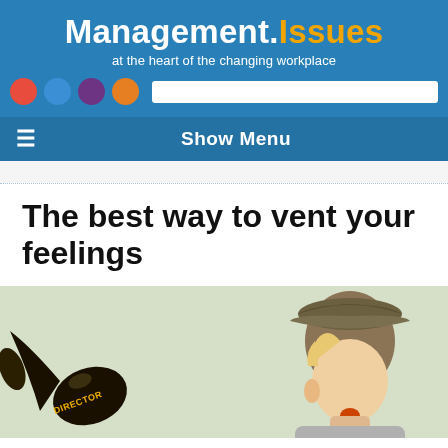Management.Issues — at the heart of the changing workplace
Show Menu
The best way to vent your feelings
[Figure (photo): A child wearing a newsboy cap and 3D glasses shouting into a vintage megaphone labeled 'DIRECTOR', vintage-style photo with muted tones.]